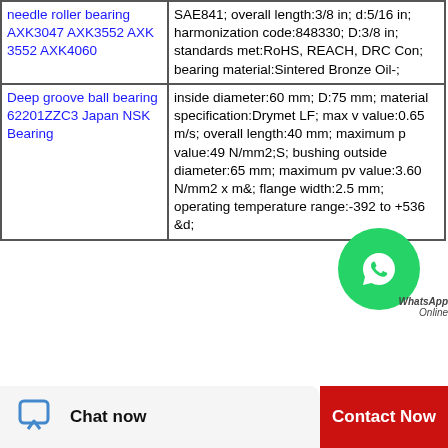| Product | Specifications |
| --- | --- |
| needle roller bearing AXK3047 AXK3552 AXK 3552 AXK4060 | SAE841; overall length:3/8 in; d:5/16 in; harmonization code:848330; D:3/8 in; standards met:RoHS, REACH, DRC Con; bearing material:Sintered Bronze Oil-; |
| Deep groove ball bearing 62201ZZC3 Japan NSK Bearing | inside diameter:60 mm; D:75 mm; material specification:Drymet LF; max v value:0.65 m/s; overall length:40 mm; maximum p value:49 N/mm2;S; bushing outside diameter:65 mm; maximum pv value:3.60 N/mm2 x m&; flange width:2.5 mm; operating temperature range:-392 to +536 &d; |
[Figure (logo): WhatsApp green circular badge with phone icon and 'WhatsApp Online' text label]
Chat now
Contact Now